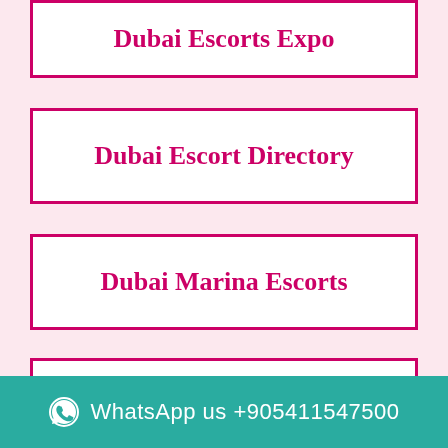Dubai Escorts Expo
Dubai Escort Directory
Dubai Marina Escorts
UAE Dubai Escort
WhatsApp us +905411547500